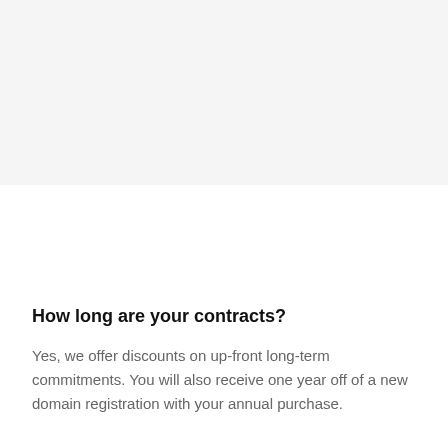How long are your contracts?
Yes, we offer discounts on up-front long-term commitments. You will also receive one year off of a new domain registration with your annual purchase.